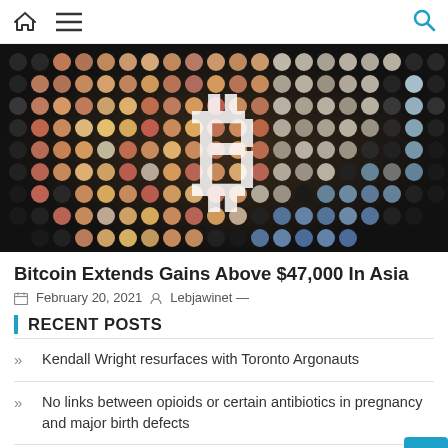Home | Menu | Search
[Figure (photo): Bitcoin logo made of colorful round coins/tokens on dark background]
Bitcoin Extends Gains Above $47,000 In Asia
February 20, 2021  Lebjawinet —
RECENT POSTS
Kendall Wright resurfaces with Toronto Argonauts
No links between opioids or certain antibiotics in pregnancy and major birth defects
SoftBank shares breach Y10,000, scale two-decade high, on